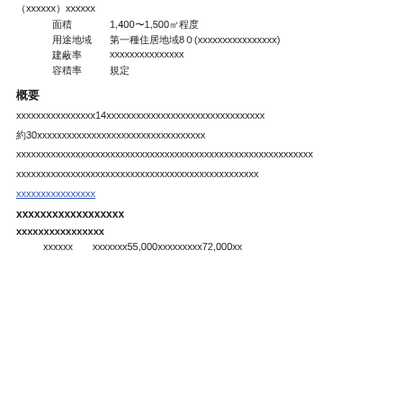（xxxxxx）xxxxxx
面積　　　　　1,400〜1,500㎡程度
用途地域　　　第一種住居地域8０（xxxxxxxxxxxxxxxx）
建蔽率　　　　xxxxxxxxxxxxxxx
容積率　　　　規定
概要
xxxxxxxxxxxxxxxx14xxxxxxxxxxxxxxxxxxxxxxxxxxxxxxxx
約30xxxxxxxxxxxxxxxxxxxxxxxxxxxxxxxxxx
xxxxxxxxxxxxxxxxxxxxxxxxxxxxxxxxxxxxxxxxxxxxxxxxxxxxxxxxxxxx
xxxxxxxxxxxxxxxxxxxxxxxxxxxxxxxxxxxxxxxxxxxxxxxxx
xxxxxxxxxxxxxxxx
xxxxxxxxxxxxxxxxxx
xxxxxxxxxxxxxxxx
xxxxxx　　xxxxxxx55,000xxxxxxxxx72,000xx